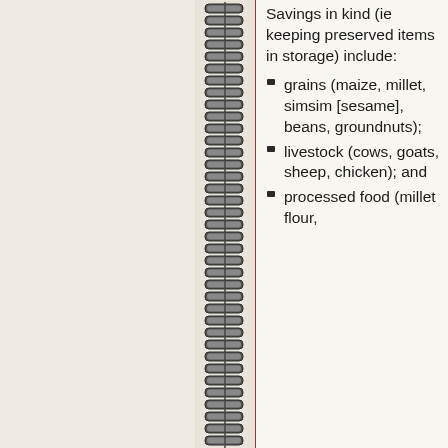Savings in kind (ie keeping preserved items in storage) include:
grains (maize, millet, simsim [sesame], beans, groundnuts);
livestock (cows, goats, sheep, chicken); and
processed food (millet flour,